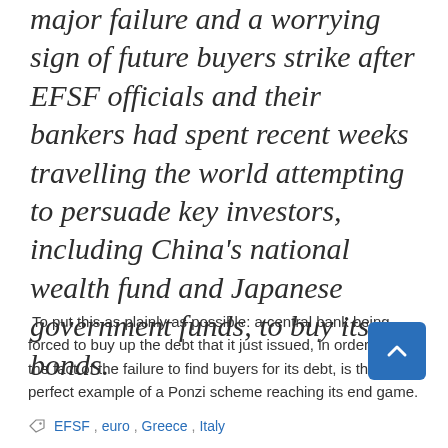major failure and a worrying sign of future buyers strike after EFSF officials and their bankers had spent recent weeks travelling the world attempting to persuade key investors, including China's national wealth fund and Japanese government funds, to buy its bonds.
To put this as plainly as possible: a central bank being forced to buy up the debt that it just issued, in order to hide the fact of the failure to find buyers for its debt, is the perfect example of a Ponzi scheme reaching its end game.
EFSF, euro, Greece, Italy